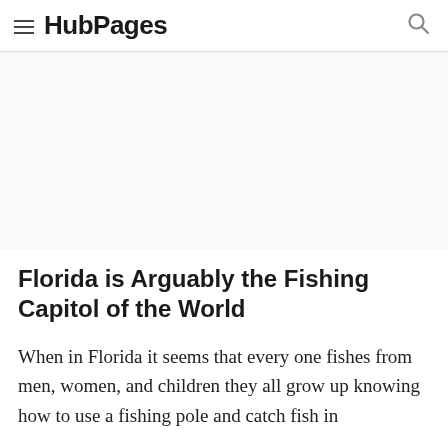HubPages
[Figure (other): Advertisement banner area (blank white space)]
Florida is Arguably the Fishing Capitol of the World
When in Florida it seems that every one fishes from men, women, and children they all grow up knowing how to use a fishing pole and catch fish in